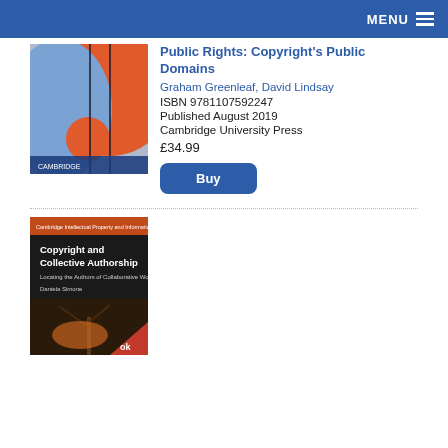MENU
[Figure (illustration): Book cover for 'Public Rights: Copyright's Public Domains' with abstract blue and orange curved design]
Public Rights: Copyright's Public Domains
Graham Greenleaf, David Lindsay
ISBN 9781107592247
Published August 2019
Cambridge University Press
£34.99
Buy
[Figure (illustration): Book cover for 'Copyright and Collective Authorship: Locating the Authors of Collaborative Work' by Daniela Simone, dark cover with tree imagery]